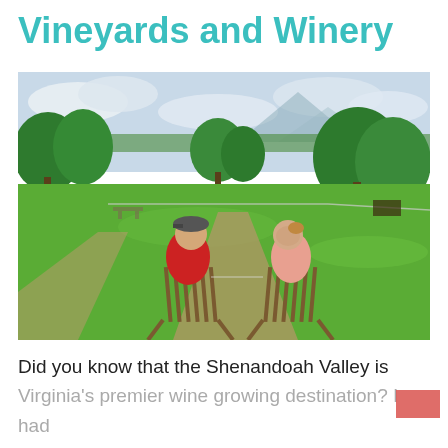Vineyards and Winery
[Figure (photo): Two people sitting in wooden lawn chairs on a grassy field at a winery, viewed from behind, facing a scenic landscape with green trees, a pathway, and rolling hills in the background. The person on the left wears a red shirt and cap; the person on the right appears in casual clothing. They appear to be toasting with wine glasses.]
Did you know that the Shenandoah Valley is Virginia's premier wine growing destination? I had no idea wines were even produced here.